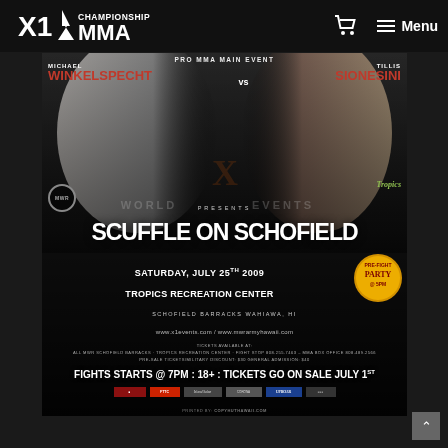X1 Championship MMA — Navigation bar with cart and Menu
[Figure (photo): X1 World Events 'Scuffle on Schofield' MMA event promotional poster. Pro MMA Main Event: Michael Winkelspecht vs Tillis Sionesini. X World Events Presents. Saturday, July 25th 2009. Tropics Recreation Center, Schofield Barracks Wahiawa, HI. www.x1events.com / www.mwrarmyhawaii.com. Tickets Available At: All MWR Schofield Barracks, Tropics Recreation Center, Fight Stop 808.255.7463, MMA Box Office 808.489.2566. Pre-Sale Tickets/Military Discount: $30 General Admission: $40. Fights Starts @ 7PM : 18+ : Tickets Go On Sale July 1st. Sponsor logos including FTTC, Island Salon, Uproar, and others. Printed By: CopyHut Hawaii.com]